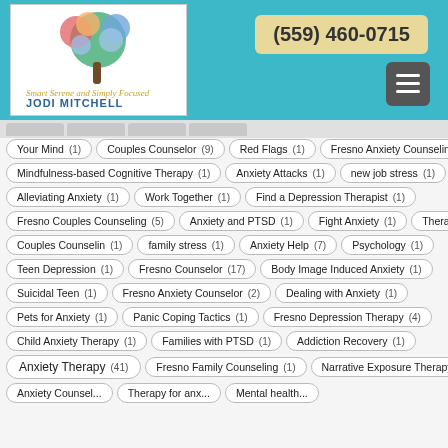[Figure (logo): Jodi Mitchell counseling logo with colorful tree and text 'Jodi Mitchell']
(559) 460-0715
Your Mind (1)
Couples Counselor (9)
Red Flags (1)
Fresno Anxiety Counseling (3)
Mindfulness-based Cognitive Therapy (1)
Anxiety Attacks (1)
new job stress (1)
Alleviating Anxiety (1)
Work Together (1)
Find a Depression Therapist (1)
Fresno Couples Counseling (5)
Anxiety and PTSD (1)
Fight Anxiety (1)
Therapy (1)
Couples Counselin (1)
family stress (1)
Anxiety Help (7)
Psychology (1)
Teen Depression (1)
Fresno Counselor (17)
Body Image Induced Anxiety (1)
Suicidal Teen (1)
Fresno Anxiety Counselor (2)
Dealing with Anxiety (1)
Pets for Anxiety (1)
Panic Coping Tactics (1)
Fresno Depression Therapy (4)
Child Anxiety Therapy (1)
Families with PTSD (1)
Addiction Recovery (1)
Anxiety Therapy (41)
Fresno Family Counseling (1)
Narrative Exposure Therapy (1)